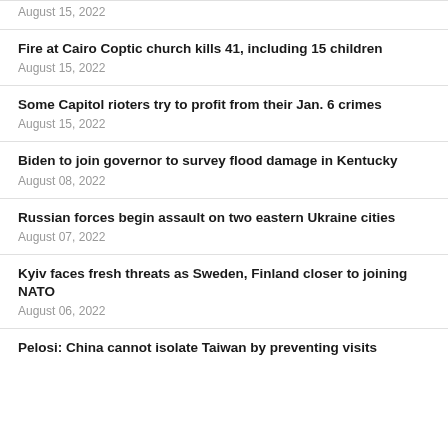August 15, 2022
Fire at Cairo Coptic church kills 41, including 15 children
August 15, 2022
Some Capitol rioters try to profit from their Jan. 6 crimes
August 15, 2022
Biden to join governor to survey flood damage in Kentucky
August 08, 2022
Russian forces begin assault on two eastern Ukraine cities
August 07, 2022
Kyiv faces fresh threats as Sweden, Finland closer to joining NATO
August 06, 2022
Pelosi: China cannot isolate Taiwan by preventing visits